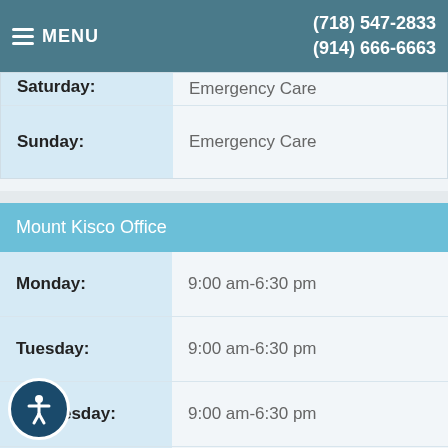MENU  (718) 547-2833  (914) 666-6663
| Day | Hours |
| --- | --- |
| Saturday: | Emergency Care |
| Sunday: | Emergency Care |
| Mount Kisco Office |  |
| --- | --- |
| Monday: | 9:00 am-6:30 pm |
| Tuesday: | 9:00 am-6:30 pm |
| Wednesday: | 9:00 am-6:30 pm |
| Thursday: | 9:00 am-6:30 pm |